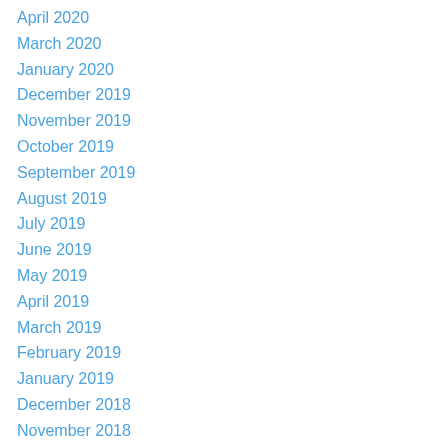April 2020
March 2020
January 2020
December 2019
November 2019
October 2019
September 2019
August 2019
July 2019
June 2019
May 2019
April 2019
March 2019
February 2019
January 2019
December 2018
November 2018
October 2018
September 2018
May 2018